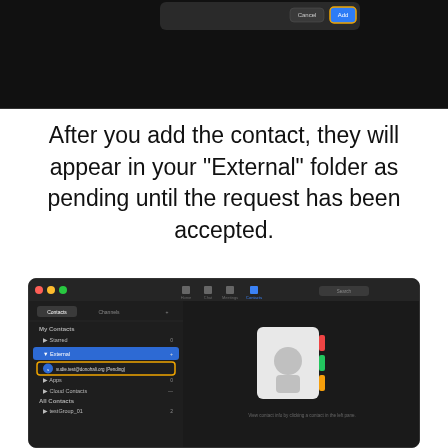[Figure (screenshot): Top cropped portion of a macOS app dialog with Cancel and Add buttons (Add highlighted with orange border) on a dark background.]
After you add the contact, they will appear in your “External” folder as pending until the request has been accepted.
[Figure (screenshot): macOS Rocket.Chat or similar contacts app window showing dark UI with sidebar: My Contacts section with Starred and External folders. External is expanded showing sudie.test@donohali.org (Pending) highlighted with an orange border. Right panel shows a contact card placeholder and text 'View contact info by clicking a contact in the left pane.']